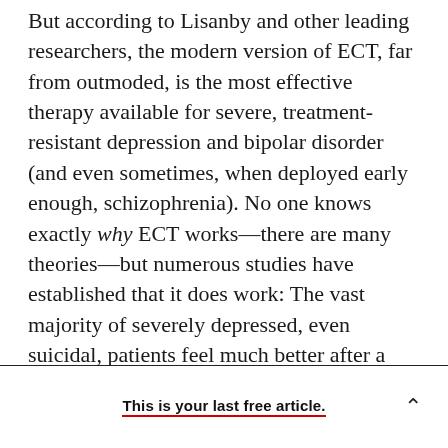But according to Lisanby and other leading researchers, the modern version of ECT, far from outmoded, is the most effective therapy available for severe, treatment-resistant depression and bipolar disorder (and even sometimes, when deployed early enough, schizophrenia). No one knows exactly why ECT works—there are many theories—but numerous studies have established that it does work: The vast majority of severely depressed, even suicidal, patients feel much better after a course of treatment. Many experience a total remission. Refinements over the past few decades, moreover, have dramatically reduced the temporary
This is your last free article.